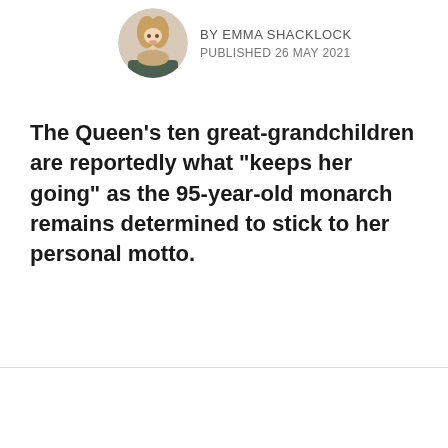[Figure (photo): Circular author portrait photo of Emma Shacklock, a woman with long blonde hair]
BY EMMA SHACKLOCK
PUBLISHED 26 MAY 2021
The Queen’s ten great-grandchildren are reportedly what “keeps her going” as the 95-year-old monarch remains determined to stick to her personal motto.